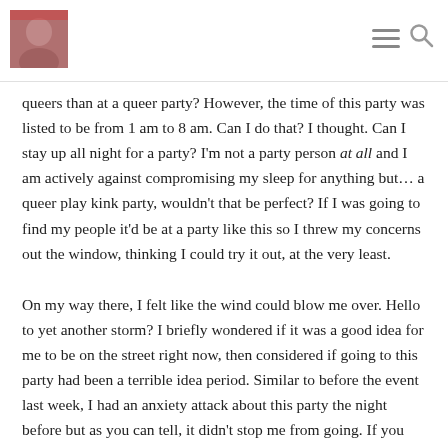[blog header with avatar photo and navigation icons]
queers than at a queer party? However, the time of this party was listed to be from 1 am to 8 am. Can I do that? I thought. Can I stay up all night for a party? I'm not a party person at all and I am actively against compromising my sleep for anything but… a queer play kink party, wouldn't that be perfect? If I was going to find my people it'd be at a party like this so I threw my concerns out the window, thinking I could try it out, at the very least.
On my way there, I felt like the wind could blow me over. Hello to yet another storm? I briefly wondered if it was a good idea for me to be on the street right now, then considered if going to this party had been a terrible idea period. Similar to before the event last week, I had an anxiety attack about this party the night before but as you can tell, it didn't stop me from going. If you follow me on twitter you might have seen my tweet asking about the appropriate time to arrive at a